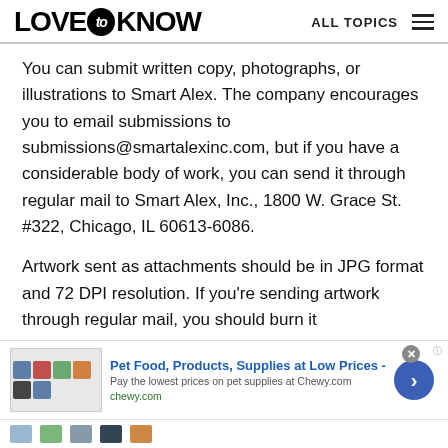LOVE to KNOW  ALL TOPICS
You can submit written copy, photographs, or illustrations to Smart Alex. The company encourages you to email submissions to submissions@smartalexinc.com, but if you have a considerable body of work, you can send it through regular mail to Smart Alex, Inc., 1800 W. Grace St. #322, Chicago, IL 60613-6086.
Artwork sent as attachments should be in JPG format and 72 DPI resolution. If you're sending artwork through regular mail, you should burn it
[Figure (screenshot): Advertisement banner: Pet Food, Products, Supplies at Low Prices - Chewy.com]